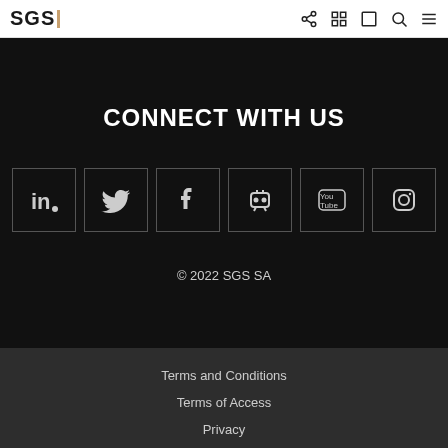SGS
CONNECT WITH US
[Figure (other): Row of six social media icon buttons: LinkedIn, Twitter, Facebook, Slideshare, YouTube, Instagram]
© 2022 SGS SA
Terms and Conditions
Terms of Access
Privacy